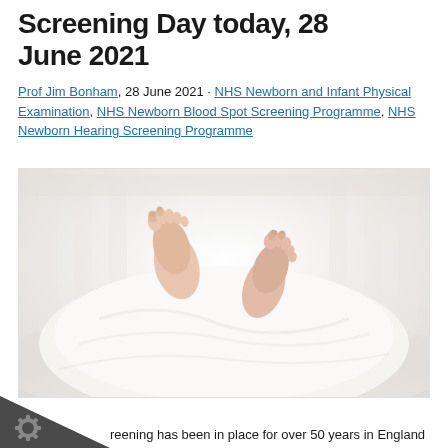Screening Day today, 28 June 2021
Prof Jim Bonham, 28 June 2021 · NHS Newborn and Infant Physical Examination, NHS Newborn Blood Spot Screening Programme, NHS Newborn Hearing Screening Programme
[Figure (photo): A newborn baby's feet poking out of a white blanket, lying in a white crib with blurred white bars in the background.]
reening has been in place for over 50 years in England